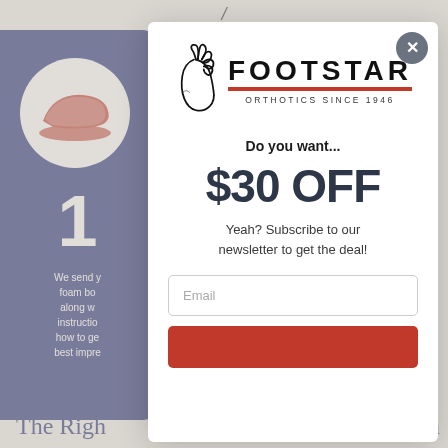[Figure (screenshot): Background page content showing partial blue card with number 1 and text, partially obscured by modal overlay]
[Figure (logo): Footstar Orthotics Since 1946 logo with foot outline SVG and red bar]
Do you want...
$30 OFF
Yeah? Subscribe to our newsletter to get the deal!
Email
The Righ
a